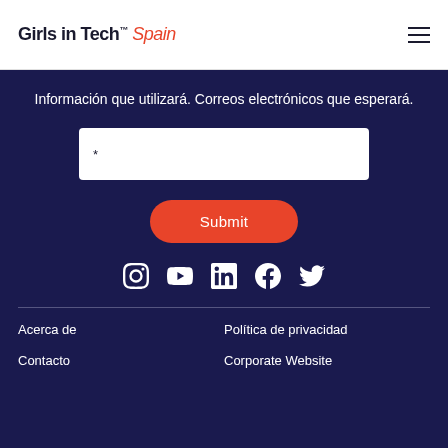Girls in Tech™ Spain
Información que utilizará. Correos electrónicos que esperará.
[Figure (other): Email input form field with asterisk placeholder]
Submit
[Figure (other): Social media icons: Instagram, YouTube, LinkedIn, Facebook, Twitter]
Acerca de | Política de privacidad | Contacto | Corporate Website